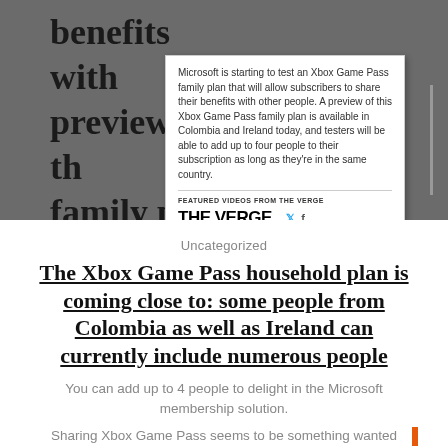[Figure (screenshot): Screenshot of a webpage showing article text about Xbox Game Pass family plan with a tooltip popup overlay showing The Verge branding and social icons]
Uncategorized
The Xbox Game Pass household plan is coming close to: some people from Colombia as well as Ireland can currently include numerous people
You can add up to 4 people to delight in the Microsoft membership solution.
Sharing Xbox Game Pass seems to be something wanted...